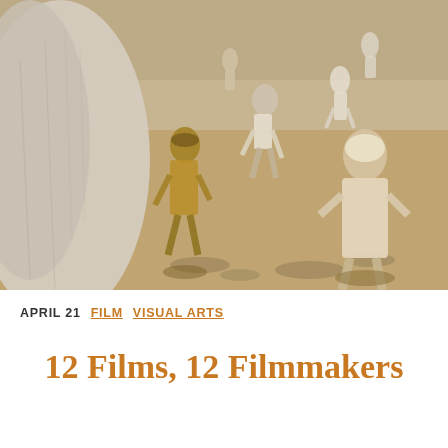[Figure (photo): Outdoor scene showing a group of children and adults in an arid, dusty setting. Figures wearing white and yellow clothing are running or walking toward the camera. Sandy ground with harsh sunlight and shadows visible.]
APRIL 21  FILM  VISUAL ARTS
12 Films, 12 Filmmakers